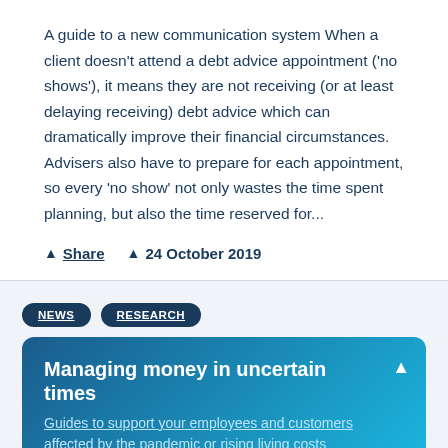A guide to a new communication system When a client doesn't attend a debt advice appointment ('no shows'), it means they are not receiving (or at least delaying receiving) debt advice which can dramatically improve their financial circumstances. Advisers also have to prepare for each appointment, so every 'no show' not only wastes the time spent planning, but also the time reserved for...
Share   24 October 2019
NEWS   RESEARCH
Managing money in uncertain times
Guides to support your employees and customers affected by the pandemic or rising living costs
capability and young adult